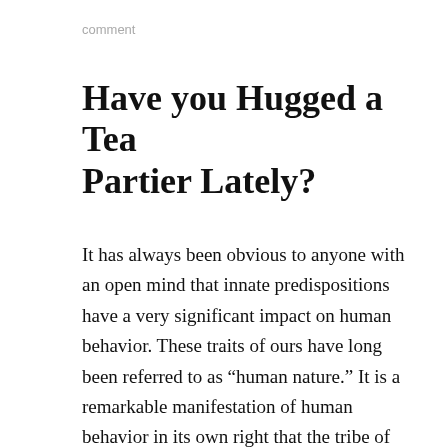comment
Have you Hugged a Tea Partier Lately?
It has always been obvious to anyone with an open mind that innate predispositions have a very significant impact on human behavior. These traits of ours have long been referred to as “human nature.” It is a remarkable manifestation of human behavior in its own right that the tribe of professional and academic psychologists somehow managed to ignore this truth through much of the 20th century. When thinkers like Robert Ardrey and